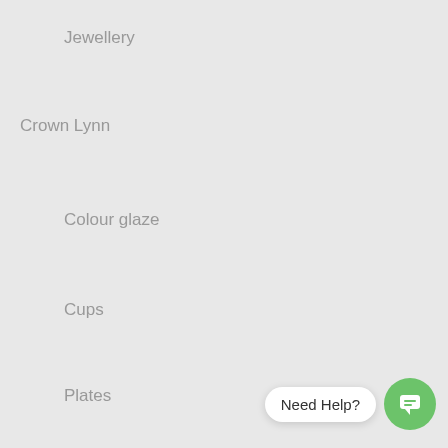Jewellery
Crown Lynn
Colour glaze
Cups
Plates
Curios and Collectables
Gift Ideas
Christmas Shop
Homeware
Kitchen
[Figure (other): Chat widget with 'Need Help?' speech bubble and green circular chat icon]